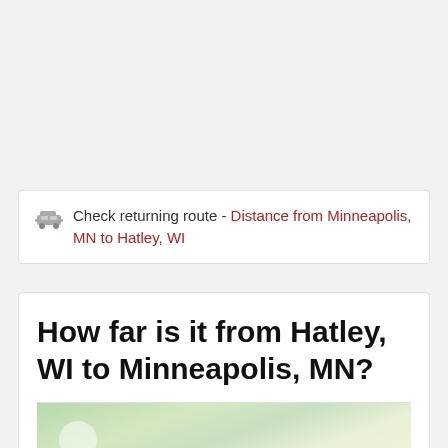Check returning route - Distance from Minneapolis, MN to Hatley, WI
How far is it from Hatley, WI to Minneapolis, MN?
[Figure (map): Partial map preview showing route area between Wisconsin and Minnesota]